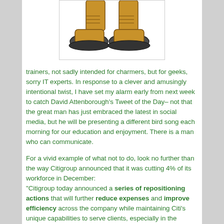[Figure (illustration): Illustration of a pair of boots/trainers with grey soles, shown from the lower legs down, on a white background inside a bordered box.]
trainers, not sadly intended for charmers, but for geeks, sorry IT experts. In response to a clever and amusingly intentional twist, I have set my alarm early from next week to catch David Attenborough's Tweet of the Day– not that the great man has just embraced the latest in social media, but he will be presenting a different bird song each morning for our education and enjoyment. There is a man who can communicate.
For a vivid example of what not to do, look no further than the way Citigroup announced that it was cutting 4% of its workforce in December:
"Citigroup today announced a series of repositioning actions that will further reduce expenses and improve efficiency across the company while maintaining Citi's unique capabilities to serve clients, especially in the emerging markets. These actions will result in increased